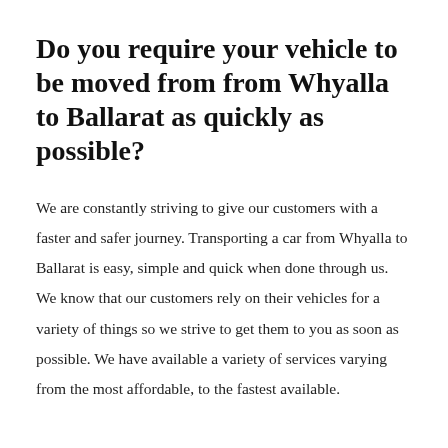Do you require your vehicle to be moved from from Whyalla to Ballarat as quickly as possible?
We are constantly striving to give our customers with a faster and safer journey. Transporting a car from Whyalla to Ballarat is easy, simple and quick when done through us. We know that our customers rely on their vehicles for a variety of things so we strive to get them to you as soon as possible. We have available a variety of services varying from the most affordable, to the fastest available.